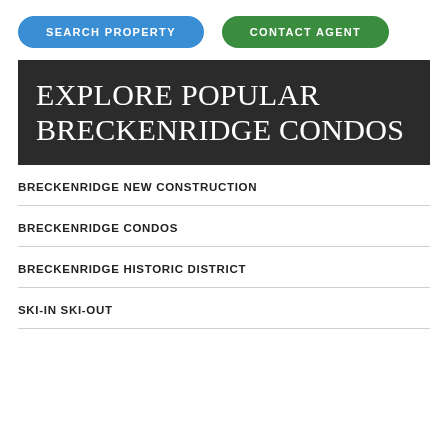SEARCH PROPERTY | CONTACT AGENT
EXPLORE POPULAR BRECKENRIDGE CONDOS
BRECKENRIDGE NEW CONSTRUCTION
BRECKENRIDGE CONDOS
BRECKENRIDGE HISTORIC DISTRICT
SKI-IN SKI-OUT